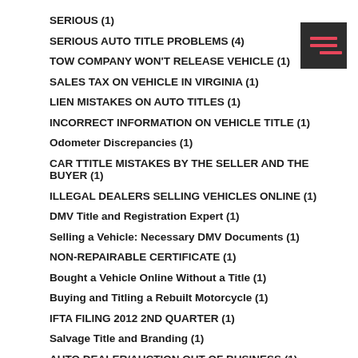SERIOUS (1)
SERIOUS AUTO TITLE PROBLEMS (4)
TOW COMPANY WON'T RELEASE VEHICLE (1)
SALES TAX ON VEHICLE IN VIRGINIA (1)
LIEN MISTAKES ON AUTO TITLES (1)
INCORRECT INFORMATION ON VEHICLE TITLE (1)
Odometer Discrepancies (1)
CAR TTITLE MISTAKES BY THE SELLER AND THE BUYER (1)
ILLEGAL DEALERS SELLING VEHICLES ONLINE (1)
DMV Title and Registration Expert (1)
Selling a Vehicle: Necessary DMV Documents (1)
NON-REPAIRABLE CERTIFICATE (1)
Bought a Vehicle Online Without a Title (1)
Buying and Titling a Rebuilt Motorcycle (1)
IFTA FILING 2012 2ND QUARTER (1)
Salvage Title and Branding (1)
AUTO DEALER/AUCTION OUT OF BUSINESS (1)